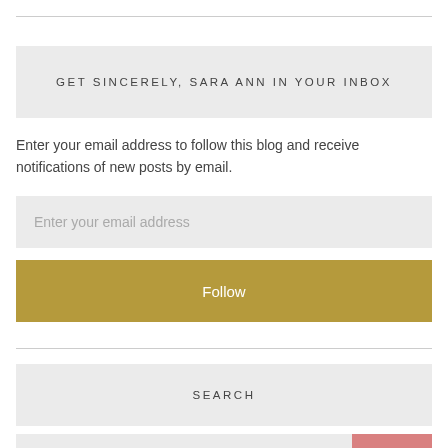GET SINCERELY, SARA ANN IN YOUR INBOX
Enter your email address to follow this blog and receive notifications of new posts by email.
Enter your email address
Follow
SEARCH
Search ...
Search